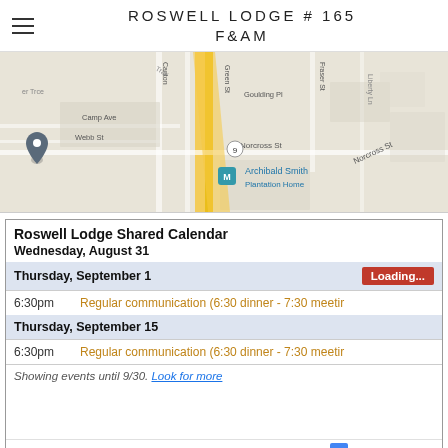ROSWELL LODGE # 165 F&AM
[Figure (map): Google Maps screenshot showing street map of Roswell area with streets including Norcross St, Green St, Fraser St, Canton, Camp Ave, Webb St, Goulding Pl, and a marker near Archibald Smith Plantation Home]
Roswell Lodge Shared Calendar
Wednesday, August 31
Thursday, September 1
6:30pm   Regular communication (6:30 dinner - 7:30 meetir
Thursday, September 15
6:30pm   Regular communication (6:30 dinner - 7:30 meetir
Showing events until 9/30. Look for more